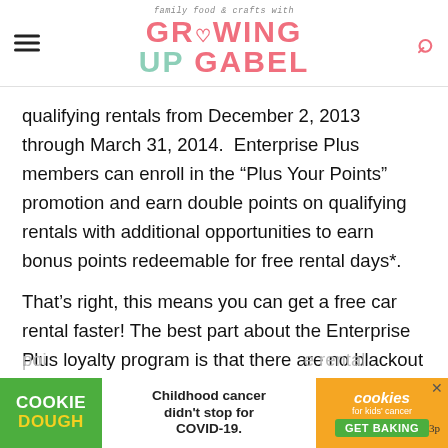family food & crafts with GROWING UP GABEL
qualifying rentals from December 2, 2013 through March 31, 2014.  Enterprise Plus members can enroll in the “Plus Your Points” promotion and earn double points on qualifying rentals with additional opportunities to earn bonus points redeemable for free rental days*.
That’s right, this means you can get a free car rental faster! The best part about the Enterprise Plus loyalty program is that there are no blackout dates and poi...e rental
[Figure (screenshot): Cookie Dough advertisement banner: 'Childhood cancer didn’t stop for COVID-19. GET BAKING cookies for kids’ cancer']